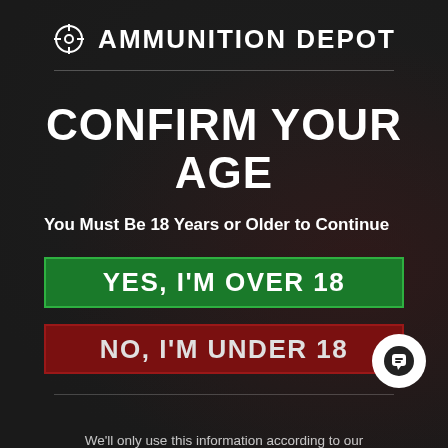AMMUNITION DEPOT
CONFIRM YOUR AGE
You Must Be 18 Years or Older to Continue
YES, I'M OVER 18
NO, I'M UNDER 18
We'll only use this information according to our